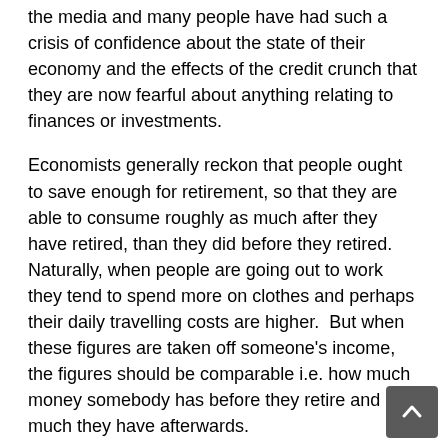the media and many people have had such a crisis of confidence about the state of their economy and the effects of the credit crunch that they are now fearful about anything relating to finances or investments.
Economists generally reckon that people ought to save enough for retirement, so that they are able to consume roughly as much after they have retired, than they did before they retired.  Naturally, when people are going out to work they tend to spend more on clothes and perhaps their daily travelling costs are higher.  But when these figures are taken off someone's income, the figures should be comparable i.e. how much money somebody has before they retire and how much they have afterwards.
Nobody does actua
lly know how much everybody is saving and whilst media coverage in the US and Europe would have us all believe that everybody lives on credit and nobody saves, undoubtedly some people do save and many may save sufficient means to